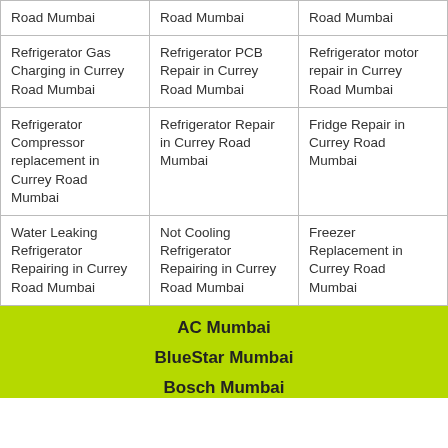| Road Mumbai | Road Mumbai | Road Mumbai |
| Refrigerator Gas Charging in Currey Road Mumbai | Refrigerator PCB Repair in Currey Road Mumbai | Refrigerator motor repair in Currey Road Mumbai |
| Refrigerator Compressor replacement in Currey Road Mumbai | Refrigerator Repair in Currey Road Mumbai | Fridge Repair in Currey Road Mumbai |
| Water Leaking Refrigerator Repairing in Currey Road Mumbai | Not Cooling Refrigerator Repairing in Currey Road Mumbai | Freezer Replacement in Currey Road Mumbai |
AC Mumbai
BlueStar Mumbai
Bosch Mumbai